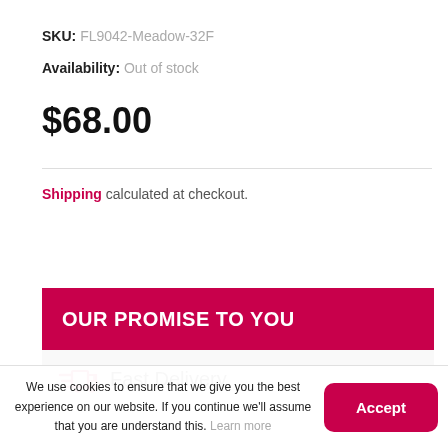SKU: FL9042-Meadow-32F
Availability: Out of stock
$68.00
Shipping calculated at checkout.
OUR PROMISE TO YOU
Fast Delivery
We use cookies to ensure that we give you the best experience on our website. If you continue we'll assume that you are understand this. Learn more